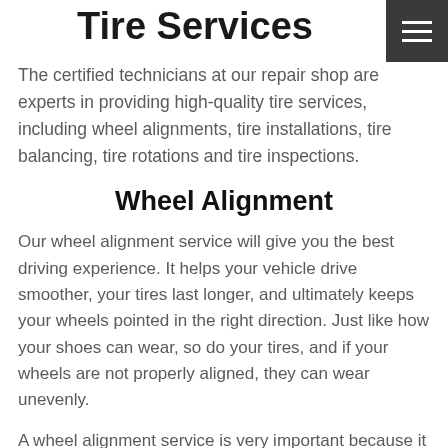Tire Services
The certified technicians at our repair shop are experts in providing high-quality tire services, including wheel alignments, tire installations, tire balancing, tire rotations and tire inspections.
Wheel Alignment
Our wheel alignment service will give you the best driving experience. It helps your vehicle drive smoother, your tires last longer, and ultimately keeps your wheels pointed in the right direction. Just like how your shoes can wear, so do your tires, and if your wheels are not properly aligned, they can wear unevenly.
A wheel alignment service is very important because it can expand the life of your tires. Even